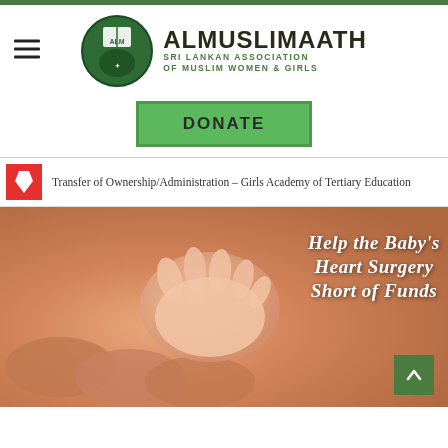[Figure (logo): ALMuslimaath logo: green circle with ALM text and book/hands icon, beside organization name ALMUSLIMAATH and subtitle SRI LANKAN ASSOCIATION OF MUSLIM WOMEN & GIRLS]
ALMUSLIMAATH SRI LANKAN ASSOCIATION OF MUSLIM WOMEN & GIRLS
DONATE
Transfer of Ownership/Administration – Girls Academy of Tertiary Education
[Figure (photo): Photo of an adult hand holding a tiny baby's hand, with overlaid text: Help the Baby's Heart Surgery Short of Funds]